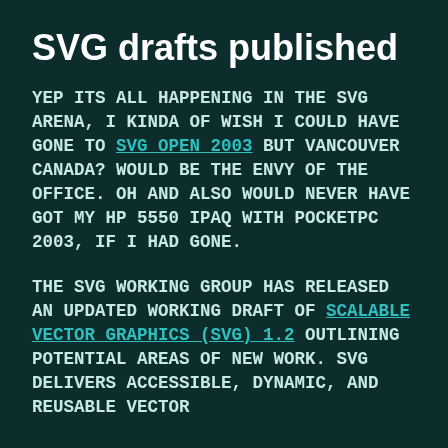SVG drafts published
YEP ITS ALL HAPPENING IN THE SVG ARENA, I KINDA OF WISH I COULD HAVE GONE TO SVG OPEN 2003 BUT VANCOUVER CANADA? WOULD BE THE ENVY OF THE OFFICE. OH AND ALSO WOULD NEVER HAVE GOT MY HP 5550 IPAQ WITH POCKETPC 2003, IF I HAD GONE.
THE SVG WORKING GROUP HAS RELEASED AN UPDATED WORKING DRAFT OF SCALABLE VECTOR GRAPHICS (SVG) 1.2 OUTLINING POTENTIAL AREAS OF NEW WORK. SVG DELIVERS ACCESSIBLE, DYNAMIC, AND REUSABLE VECTOR